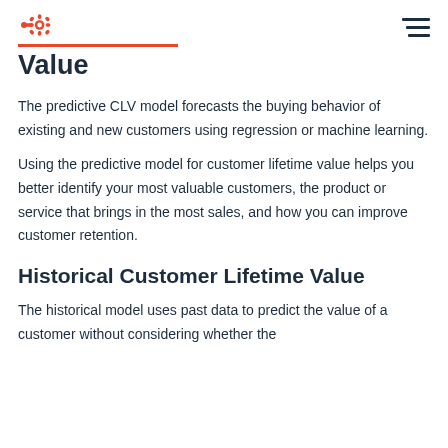HubSpot logo and navigation menu
Value
The predictive CLV model forecasts the buying behavior of existing and new customers using regression or machine learning.
Using the predictive model for customer lifetime value helps you better identify your most valuable customers, the product or service that brings in the most sales, and how you can improve customer retention.
Historical Customer Lifetime Value
The historical model uses past data to predict the value of a customer without considering whether the